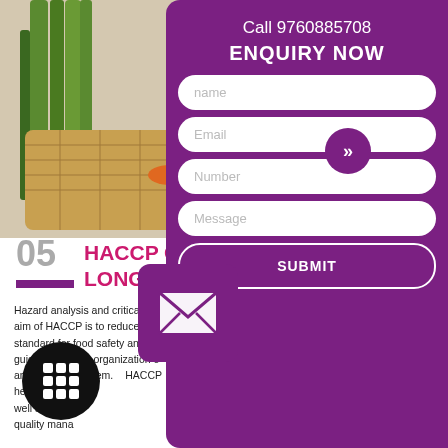[Figure (photo): Vegetables and fruits in a basket - leeks, carrots, apples shown from above]
Call 9760885708
ENQUIRY NOW
name
Email
Number
Message
SUBMIT
05
HACCP C LONGLE
Hazard analysis and critical con... aim of HACCP is to reduce haz... standard for food safety and guidelines to the organization o... and control them. HACCP helps well as to impr... quality mana...
BENEFITS
ve food quality and food sa...
Improve the market value of the organization.